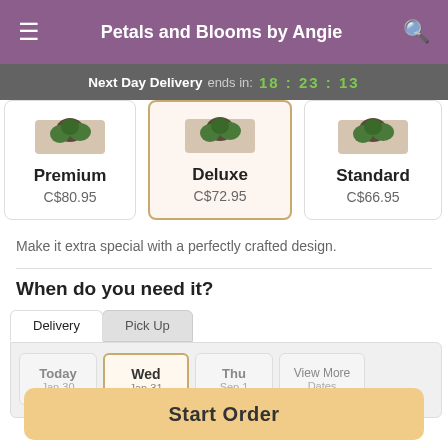Petals and Blooms by Angie
Next Day Delivery ends in: 18:23:13
Premium
C$80.95
Deluxe
C$72.95
Standard
C$66.95
Make it extra special with a perfectly crafted design.
When do you need it?
Delivery	Pick Up
Today
Wed
Thu
View More
Start Order